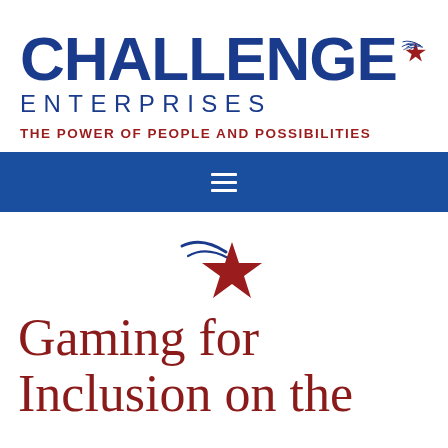[Figure (logo): Challenge Enterprises logo with bold blue CHALLENGE text, red star with swoosh lines, and blue ENTERPRISES text below]
THE POWER OF PEOPLE AND POSSIBILITIES
[Figure (other): Blue navigation bar with white hamburger menu icon (three horizontal lines)]
[Figure (logo): Red star with swoosh lines decorative element]
Gaming for Inclusion on the